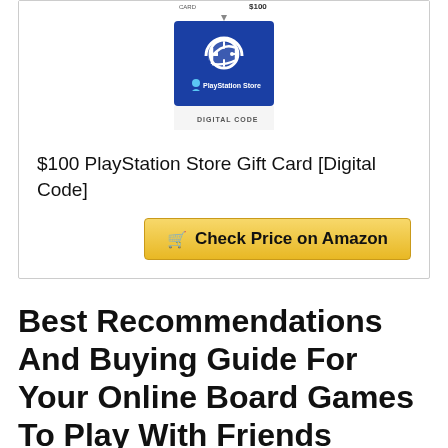[Figure (photo): PlayStation Store $100 Gift Card digital code product image — blue card with PlayStation logo and 'PlayStation Store' and 'DIGITAL CODE' text visible]
$100 PlayStation Store Gift Card [Digital Code]
Check Price on Amazon
Best Recommendations And Buying Guide For Your Online Board Games To Play With Friends